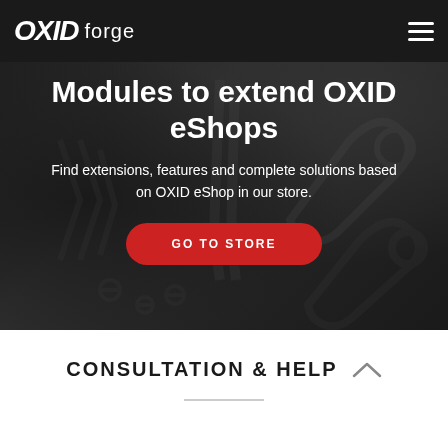OXID forge
Modules to extend OXID eShops
Find extensions, features and complete solutions based on OXID eShop in our store.
GO TO STORE
CONSULTATION & HELP